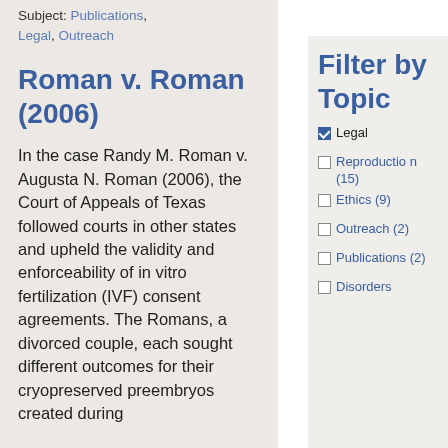Subject: Publications, Legal, Outreach
Roman v. Roman (2006)
In the case Randy M. Roman v. Augusta N. Roman (2006), the Court of Appeals of Texas followed courts in other states and upheld the validity and enforceability of in vitro fertilization (IVF) consent agreements. The Romans, a divorced couple, each sought different outcomes for their cryopreserved preembryos created during
Filter by Topic
Legal (checked)
Reproduction (15)
Ethics (9)
Outreach (2)
Publications (2)
Disorders